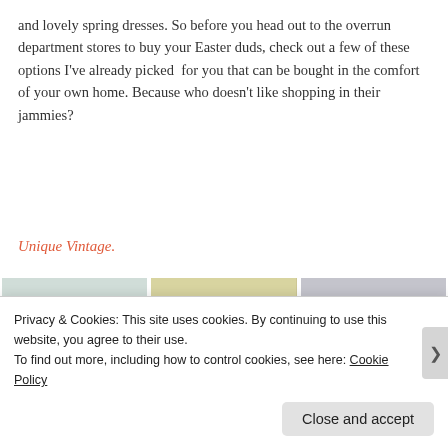and lovely spring dresses. So before you head out to the overrun department stores to buy your Easter duds, check out a few of these options I've already picked  for you that can be bought in the comfort of your own home. Because who doesn't like shopping in their jammies?
Unique Vintage.
[Figure (photo): Three women modeling vintage-style dresses: left woman in floral/pastel wrap dress, center woman in yellow top, right woman in black and white patterned dress.]
Privacy & Cookies: This site uses cookies. By continuing to use this website, you agree to their use.
To find out more, including how to control cookies, see here: Cookie Policy